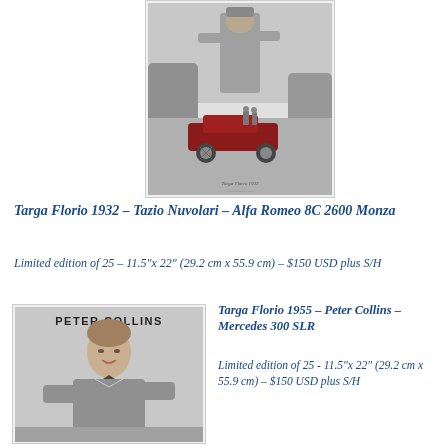[Figure (photo): Black and white artwork/photo of Tazio Nuvolari at Targa Florio 1932, showing a racing driver figure with a red Alfa Romeo 8C 2600 Monza race car in the background]
Targa Florio 1932 – Tazio Nuvolari – Alfa Romeo 8C 2600 Monza
Limited edition of 25 – 11.5"x 22" (29.2 cm x 55.9 cm) – $150 USD plus S/H
[Figure (photo): Black and white photo of Peter Collins, showing a smiling young man in a sweater, with 'PETER COLLINS' text at top]
Targa Florio 1955 – Peter Collins – Mercedes 300 SLR
Limited edition of 25 - 11.5"x 22" (29.2 cm x 55.9 cm) – $150 USD plus S/H